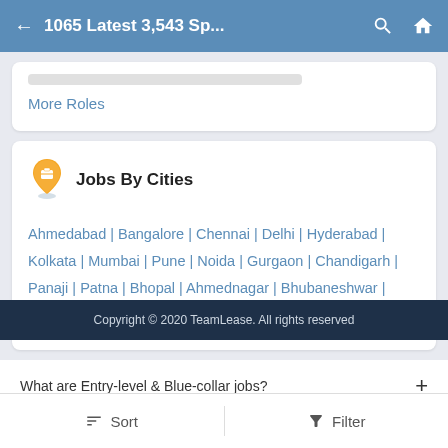← 1065 Latest 3,543 Sp...
More Roles
Jobs By Cities
Ahmedabad | Bangalore | Chennai | Delhi | Hyderabad | Kolkata | Mumbai | Pune | Noida | Gurgaon | Chandigarh | Panaji | Patna | Bhopal | Ahmednagar | Bhubaneshwar | Pondicherry | Mohali | Jaipur
What are Entry-level & Blue-collar jobs? +
Copyright © 2020 TeamLease. All rights reserved